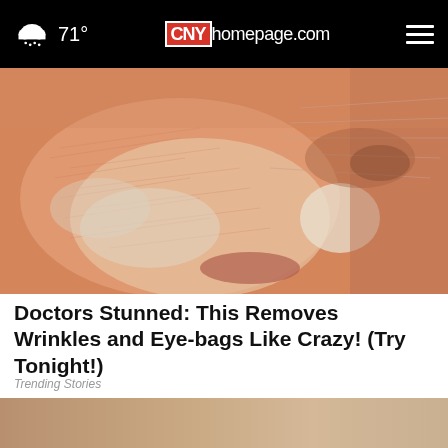71° CNYhomepage.com
[Figure (photo): Close-up of a person's face with a skin treatment or face mask applied, showing textured skin with white/cream substance on cheeks and nose area.]
Doctors Stunned: This Removes Wrinkles and Eye-bags Like Crazy! (Try Tonight!)
Trending Stories
[Figure (photo): Partial view of a bathroom/home scene with a yellow advertisement banner overlay reading 'BUZZED AND DOING SOMETHING TO MAKE YOURSELF OKAY TO DRIVE?' and a close button (X) in the upper right.]